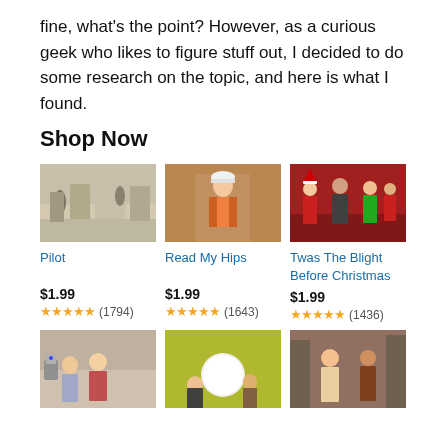fine, what's the point? However, as a curious geek who likes to figure stuff out, I decided to do some research on the topic, and here is what I found.
Shop Now
[Figure (photo): TV show scene - indoor kitchen/living area, people visible]
[Figure (photo): TV show scene - person in orange vest/hard hat indoors]
[Figure (photo): TV show scene - Christmas themed, people in festive outfits]
Pilot
$1.99
★★★★★ (1794)
Read My Hips
$1.99
★★★★★ (1643)
Twas The Blight Before Christmas
$1.99
★★★★★ (1436)
[Figure (photo): TV show scene - children and adults indoors]
[Figure (photo): TV show scene - people with large white ball prop]
[Figure (photo): TV show scene - woman and man indoors]